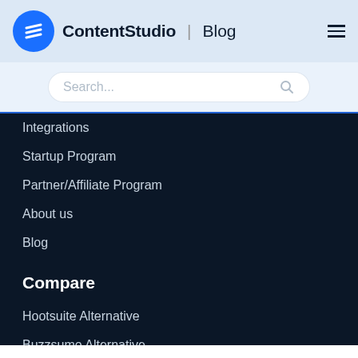ContentStudio | Blog
Search...
Integrations
Startup Program
Partner/Affiliate Program
About us
Blog
Compare
Hootsuite Alternative
Buzzsumo Alternative
Buffer Alternative
Meetedgar Alternative
Support